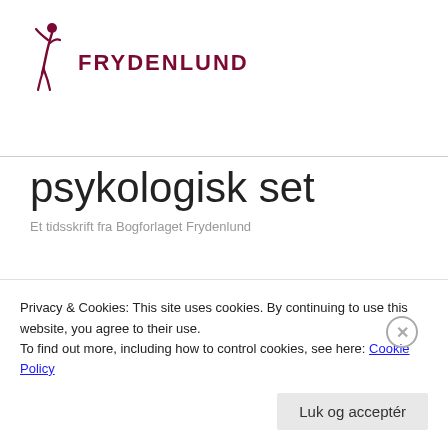[Figure (logo): Frydenlund publisher logo: dark red stylized human figure with FRYDENLUND text in bold dark red capitals]
psykologisk set
Et tidsskrift fra Bogforlaget Frydenlund
Privacy & Cookies: This site uses cookies. By continuing to use this website, you agree to their use.
To find out more, including how to control cookies, see here: Cookie Policy
Luk og acceptér